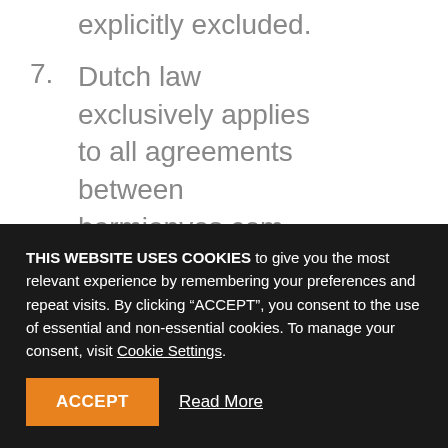explicitly excluded.
7. Dutch law exclusively applies to all agreements between hermienvos.com and the consumer. Even if the
THIS WEBSITE USES COOKIES to give you the most relevant experience by remembering your preferences and repeat visits. By clicking “ACCEPT”, you consent to the use of essential and non-essential cookies. To manage your consent, visit Cookie Settings.
ACCEPT   Read More